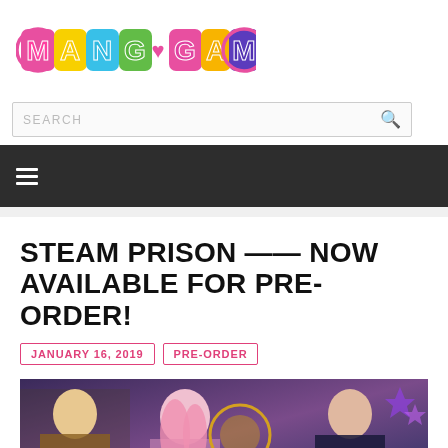[Figure (logo): MangaGamer logo with colorful bubble letters on white background with pink circle border]
SEARCH
[Figure (infographic): Dark navigation bar with hamburger menu icon (three horizontal white lines)]
STEAM PRISON —— NOW AVAILABLE FOR PRE-ORDER!
JANUARY 16, 2019
PRE-ORDER
[Figure (illustration): Anime-style key art for Steam Prison showing multiple characters: blonde male, pink-haired female protagonist, and dark-haired male against a fantasy/steampunk background]